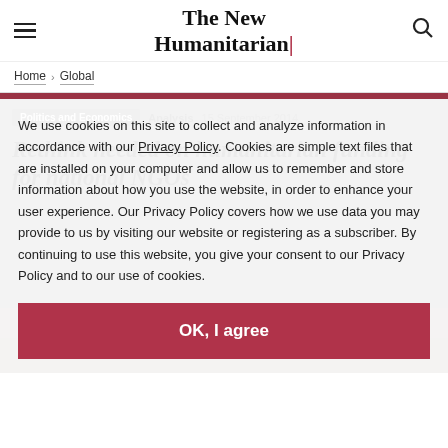The New Humanitarian
Home › Global
Politics and Economics  Analysis  15 September 2014
Rethink needed on humanitarian funding for national NGOs
We use cookies on this site to collect and analyze information in accordance with our Privacy Policy. Cookies are simple text files that are installed on your computer and allow us to remember and store information about how you use the website, in order to enhance your user experience. Our Privacy Policy covers how we use data you may provide to us by visiting our website or registering as a subscriber. By continuing to use this website, you give your consent to our Privacy Policy and to our use of cookies.
OK, I agree